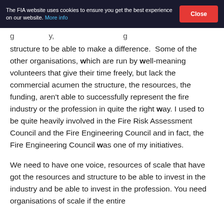The FIA website uses cookies to ensure you get the best experience on our website. More info | Close
structure to be able to make a difference.  Some of the other organisations, which are run by well-meaning volunteers that give their time freely, but lack the commercial acumen the structure, the resources, the funding, aren't able to successfully represent the fire industry or the profession in quite the right way. I used to be quite heavily involved in the Fire Risk Assessment Council and the Fire Engineering Council and in fact, the Fire Engineering Council was one of my initiatives.
We need to have one voice, resources of scale that have got the resources and structure to be able to invest in the industry and be able to invest in the profession. You need organisations of scale if the entire